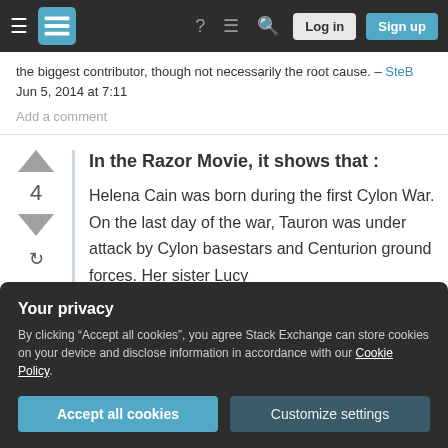Stack Exchange navigation bar with Log in and Sign up buttons
the biggest contributor, though not necessarily the root cause. – SteB Jun 5, 2014 at 7:11
Add a comment
In the Razor Movie, it shows that :
Helena Cain was born during the first Cylon War. On the last day of the war, Tauron was under attack by Cylon basestars and Centurion ground forces. Her sister Lucy
sustained when she tripped over some
Your privacy
By clicking "Accept all cookies", you agree Stack Exchange can store cookies on your device and disclose information in accordance with our Cookie Policy.
Accept all cookies  Customize settings